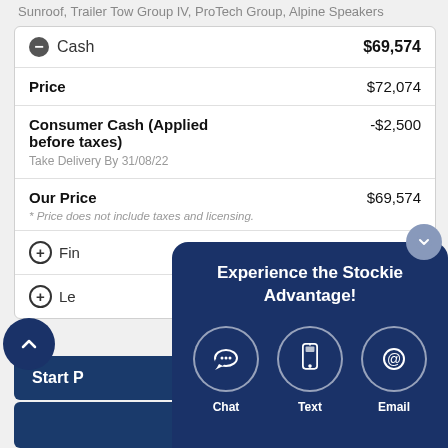Sunroof, Trailer Tow Group IV, ProTech Group, Alpine Speakers
| Item | Value |
| --- | --- |
| Cash | $69,574 |
| Price | $72,074 |
| Consumer Cash (Applied before taxes) — Take Delivery By 31/08/22 | -$2,500 |
| Our Price | $69,574 |
| Finance | ...3 / bw |
| Lease | ...72 / bw |
* Price does not include taxes and licensing.
Start P...
[Figure (infographic): Overlay popup with navy background showing 'Experience the Stockie Advantage!' heading and three contact icons: Chat, Text, Email in circular outlines.]